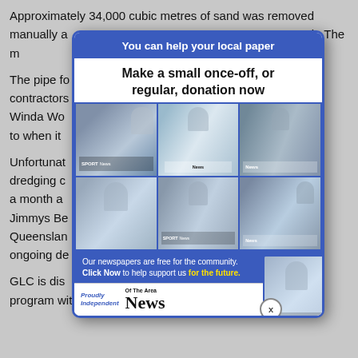Approximately 34,000 cubic metres of sand was removed manually and placed on the stockpile at Winda Woppa spit. The m...
The pipe fo... contractors... from Winda Wo... to attach to when it...
Unfortunat... e dredging c... till almost a month a... to Jimmys Be... North Queensland... een ongoing de... ess.
GLC is dis... delayed program with Crown Lands.
[Figure (infographic): Modal advertisement popup for 'Of The Area News' local newspaper. Blue header reads 'You can help your local paper'. Subtitle says 'Make a small once-off, or regular, donation now'. Contains a collage of photos showing children and adults reading the newspaper. Footer text: 'Our newspapers are free for the community. Click Now to help support us for the future.' Logo: Proudly Independent, Of The Area News. Close button with X in bottom right corner.]